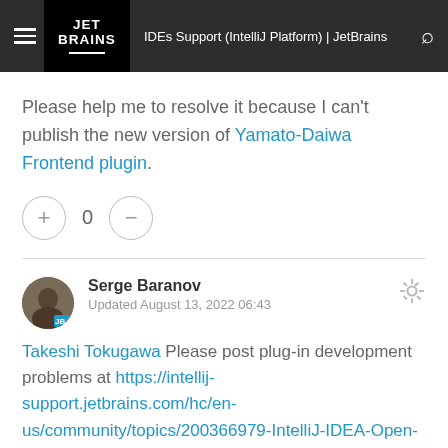IDEs Support (IntelliJ Platform) | JetBrains
Please help me to resolve it because I can't publish the new version of Yamato-Daiwa Frontend plugin.
0
Serge Baranov
Updated August 13, 2022 06:43
Takeshi Tokugawa Please post plug-in development problems at https://intellij-support.jetbrains.com/hc/en-us/community/topics/200366979-IntelliJ-IDEA-Open-API-and-Plugin-Development or file a bug at https://youtrack.jetbrains.com/newIssue?